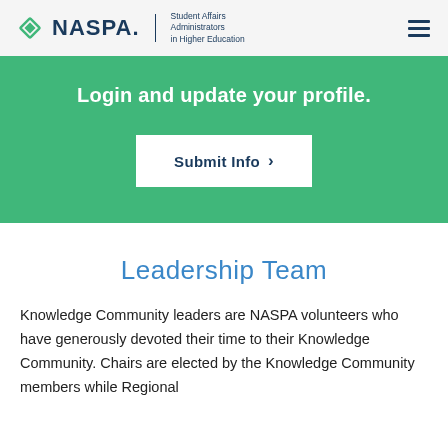NASPA | Student Affairs Administrators in Higher Education
Login and update your profile.
Submit Info >
Leadership Team
Knowledge Community leaders are NASPA volunteers who have generously devoted their time to their Knowledge Community. Chairs are elected by the Knowledge Community members while Regional